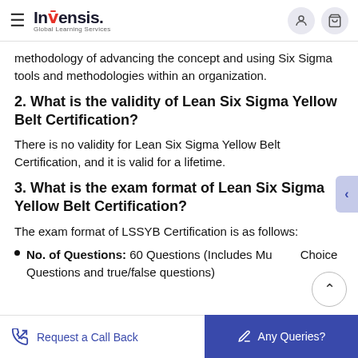Invensis Global Learning Services
methodology of advancing the concept and using Six Sigma tools and methodologies within an organization.
2. What is the validity of Lean Six Sigma Yellow Belt Certification?
There is no validity for Lean Six Sigma Yellow Belt Certification, and it is valid for a lifetime.
3. What is the exam format of Lean Six Sigma Yellow Belt Certification?
The exam format of LSSYB Certification is as follows:
No. of Questions: 60 Questions (Includes Multiple Choice Questions and true/false questions)
Request a Call Back | Any Queries?